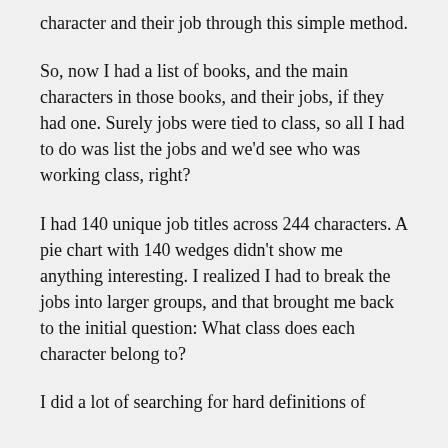character and their job through this simple method.
So, now I had a list of books, and the main characters in those books, and their jobs, if they had one. Surely jobs were tied to class, so all I had to do was list the jobs and we'd see who was working class, right?
I had 140 unique job titles across 244 characters. A pie chart with 140 wedges didn't show me anything interesting. I realized I had to break the jobs into larger groups, and that brought me back to the initial question: What class does each character belong to?
I did a lot of searching for hard definitions of